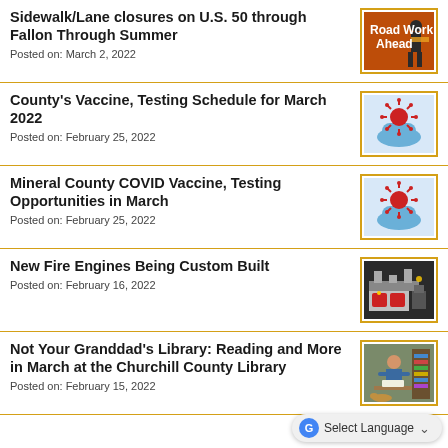Sidewalk/Lane closures on U.S. 50 through Fallon Through Summer
Posted on: March 2, 2022
County's Vaccine, Testing Schedule for March 2022
Posted on: February 25, 2022
Mineral County COVID Vaccine, Testing Opportunities in March
Posted on: February 25, 2022
New Fire Engines Being Custom Built
Posted on: February 16, 2022
Not Your Granddad's Library: Reading and More in March at the Churchill County Library
Posted on: February 15, 2022